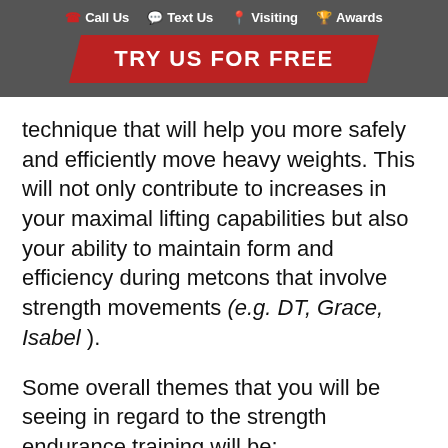Call Us   Text Us   Visiting   Awards
[Figure (infographic): Red parallelogram banner with white bold text reading TRY US FOR FREE]
technique that will help you more safely and efficiently move heavy weights. This will not only contribute to increases in your maximal lifting capabilities but also your ability to maintain form and efficiency during metcons that involve strength movements (e.g. DT, Grace, Isabel ).
Some overall themes that you will be seeing in regard to the strength endurance training will be: